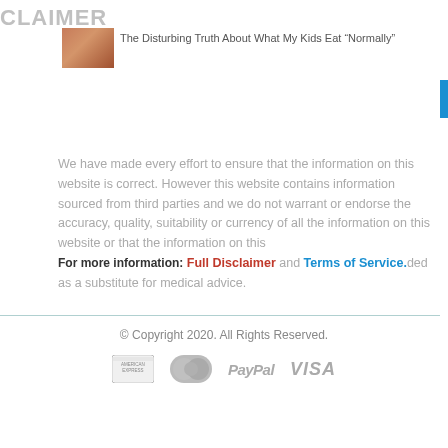CLAIMER
[Figure (photo): Small thumbnail image of food/kids eating]
The Disturbing Truth About What My Kids Eat “Normally”
We have made every effort to ensure that the information on this website is correct. However this website contains information sourced from third parties and we do not warrant or endorse the accuracy, quality, suitability or currency of all the information on this website or that the information on this For more information: Full Disclaimer and Terms of Service. as a substitute for medical advice.
© Copyright 2020. All Rights Reserved.
[Figure (logo): Payment icons: American Express, MasterCard, PayPal, VISA]